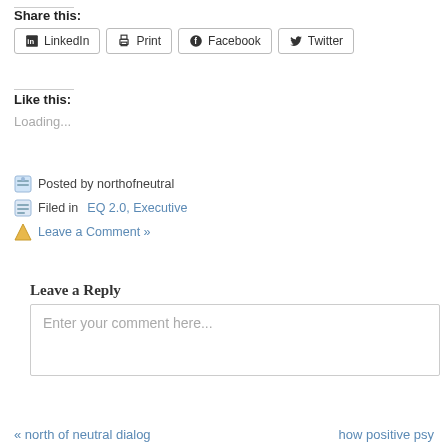Share this:
LinkedIn  Print  Facebook  Twitter
Like this:
Loading...
Posted by northofneutral
Filed in EQ 2.0, Executive
Leave a Comment »
Leave a Reply
Enter your comment here...
« north of neutral dialog
how positive psy